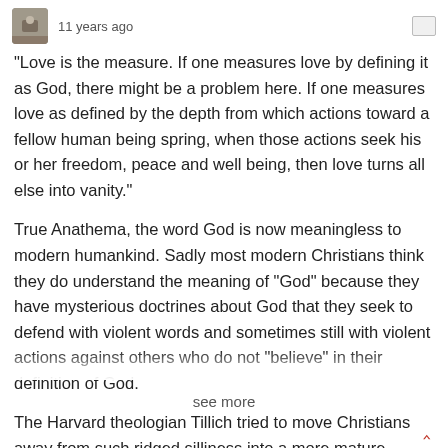11 years ago
"Love is the measure. If one measures love by defining it as God, there might be a problem here. If one measures love as defined by the depth from which actions toward a fellow human being spring, when those actions seek his or her freedom, peace and well being, then love turns all else into vanity."
True Anathema, the word God is now meaningless to modern humankind. Sadly most modern Christians think they do understand the meaning of "God" because they have mysterious doctrines about God that they seek to defend with violent words and sometimes still with violent actions against others who do not "believe" in their definition of God.
The Harvard theologian Tillich tried to move Christians away from such ridged silliness into a more mature understanding of God as that which is "ultimate concern".  Using Tillich's perspective and yours above I would say LOVE is god. All else called religion is bullshit and ignorance. UNCONDITIONAL LOVE, BEAUTY, HOPE, FREEDOM and ... FAITH in LIFE...
see more